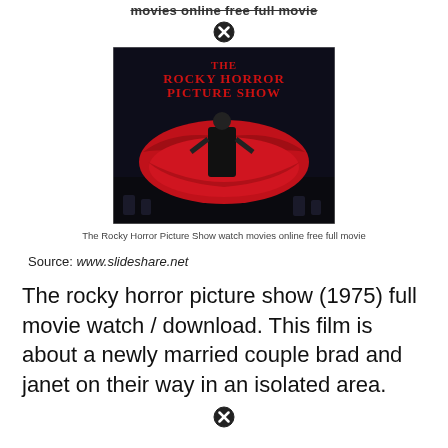movies online free full movie
[Figure (photo): Movie poster for The Rocky Horror Picture Show showing a person in costume on a large red lips sofa against a dark background with the film title in red dripping letters.]
The Rocky Horror Picture Show watch movies online free full movie
Source: www.slideshare.net
The rocky horror picture show (1975) full movie watch / download. This film is about a newly married couple brad and janet on their way in an isolated area.